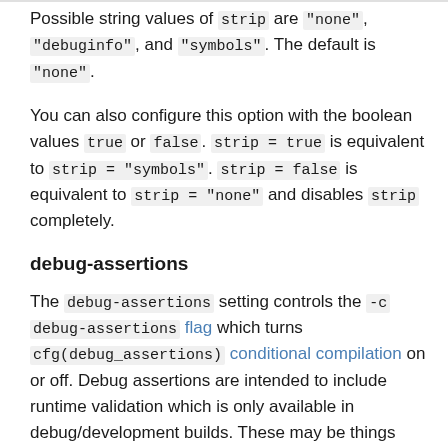Possible string values of strip are "none", "debuginfo", and "symbols". The default is "none".
You can also configure this option with the boolean values true or false. strip = true is equivalent to strip = "symbols". strip = false is equivalent to strip = "none" and disables strip completely.
debug-assertions
The debug-assertions setting controls the -c debug-assertions flag which turns cfg(debug_assertions) conditional compilation on or off. Debug assertions are intended to include runtime validation which is only available in debug/development builds. These may be things that are too expensive or otherwise undesirable in